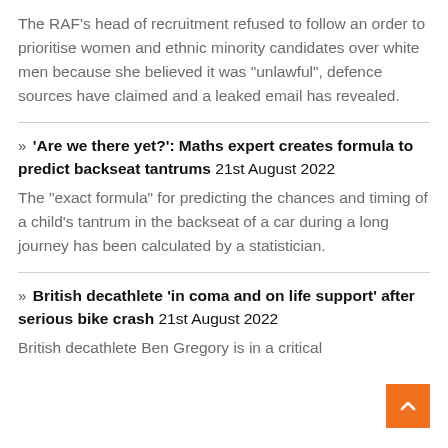The RAF's head of recruitment refused to follow an order to prioritise women and ethnic minority candidates over white men because she believed it was "unlawful", defence sources have claimed and a leaked email has revealed.
» 'Are we there yet?': Maths expert creates formula to predict backseat tantrums 21st August 2022 — The "exact formula" for predicting the chances and timing of a child's tantrum in the backseat of a car during a long journey has been calculated by a statistician.
» British decathlete 'in coma and on life support' after serious bike crash 21st August 2022 — British decathlete Ben Gregory is in a critical